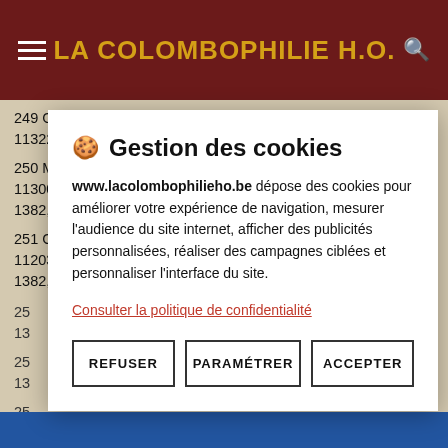LA COLOMBOPHILIE H.O.
249 GOLABECK MARCELA   FENEUR  3 1  189829 10134/2 9 113221.0 1382,07
250 MICHIELS MARCEL   OUPEYE  15 5   3 1049020 8 113003.0 1382,03
251 CROUX M & L   GRACE-HO 31 24   22 1005657 8 112036.0 1382,01
Gestion des cookies
www.lacolombophilieho.be dépose des cookies pour améliorer votre expérience de navigation, mesurer l'audience du site internet, afficher des publicités personnalisées, réaliser des campagnes ciblées et personnaliser l'interface du site.
Consulter la politique de confidentialité
REFUSER   PARAMÉTRER   ACCEPTER